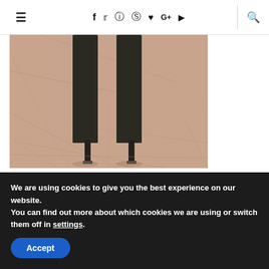≡  f  t  ⊙  P  ♥  G+  ▶  🔍
[Figure (photo): Cropped photo showing lower legs of a person wearing dark tall heeled boots, standing on a pink/terracotta marble floor]
[Figure (logo): Dark charcoal square with EVERLANE text in white uppercase bold letters at the bottom left]
We are using cookies to give you the best experience on our website.
You can find out more about which cookies we are using or switch them off in settings.
Accept